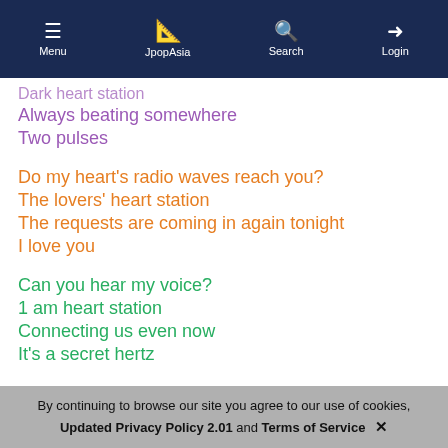Menu | JpopAsia | Search | Login
Dark heart station
Always beating somewhere
Two pulses
Do my heart's radio waves reach you?
The lovers' heart station
The requests are coming in again tonight
I love you
Can you hear my voice?
1 am heart station
Connecting us even now
It's a secret hertz
Do my heart's radio waves reach you?
The sinners' heart station
Only God knows
This secret
By continuing to browse our site you agree to our use of cookies, Updated Privacy Policy 2.01 and Terms of Service ✕